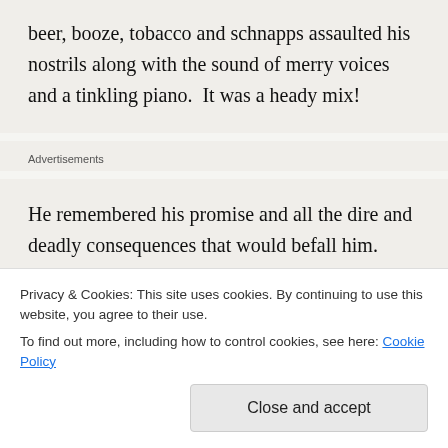beer, booze, tobacco and schnapps assaulted his nostrils along with the sound of merry voices and a tinkling piano.  It was a heady mix!
Advertisements
He remembered his promise and all the dire and deadly consequences that would befall him.  Well, it was icy outside and the wind froze... permission to enter.
Privacy & Cookies: This site uses cookies. By continuing to use this website, you agree to their use.
To find out more, including how to control cookies, see here: Cookie Policy